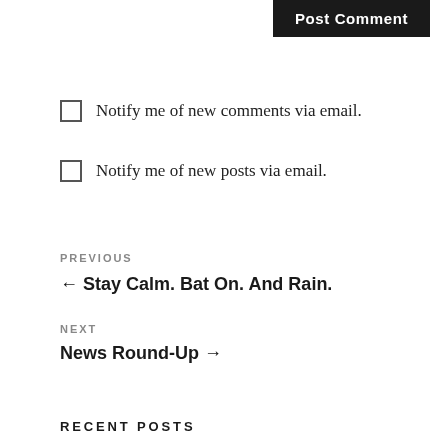Post Comment
Notify me of new comments via email.
Notify me of new posts via email.
PREVIOUS
← Stay Calm. Bat On. And Rain.
NEXT
News Round-Up →
RECENT POSTS